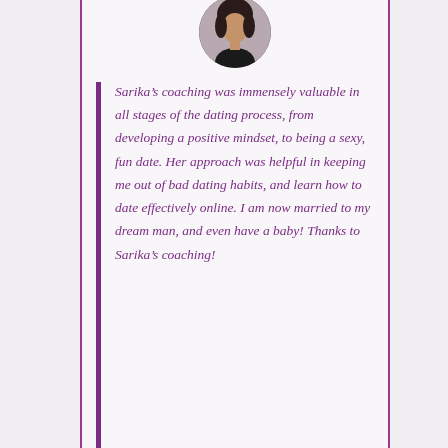[Figure (photo): Circular portrait photo of a woman with dark hair wearing a black outfit]
Sarika’s coaching was immensely valuable in all stages of the dating process, from developing a positive mindset, to being a sexy, fun date. Her approach was helpful in keeping me out of bad dating habits, and learn how to date effectively online. I am now married to my dream man, and even have a baby! Thanks to Sarika’s coaching!